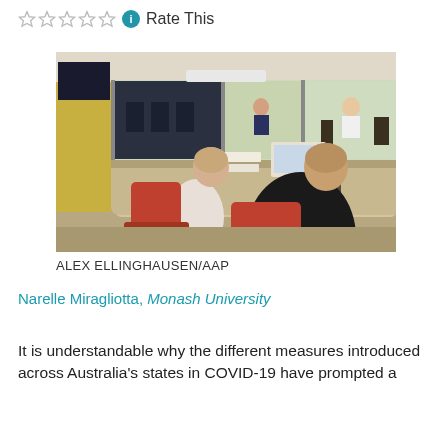Rate This
[Figure (photo): Two men sitting at a conference table viewed from behind, facing large video screens showing a meeting room with other participants including a woman and a man in a white shirt.]
ALEX ELLINGHAUSEN/AAP
Narelle Miragliotta, Monash University
It is understandable why the different measures introduced across Australia's states in COVID-19 have prompted a